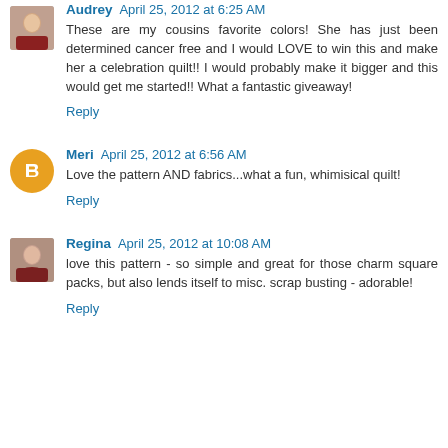Audrey April 25, 2012 at 6:25 AM
These are my cousins favorite colors! She has just been determined cancer free and I would LOVE to win this and make her a celebration quilt!! I would probably make it bigger and this would get me started!! What a fantastic giveaway!
Reply
Meri April 25, 2012 at 6:56 AM
Love the pattern AND fabrics...what a fun, whimisical quilt!
Reply
Regina April 25, 2012 at 10:08 AM
love this pattern - so simple and great for those charm square packs, but also lends itself to misc. scrap busting - adorable!
Reply